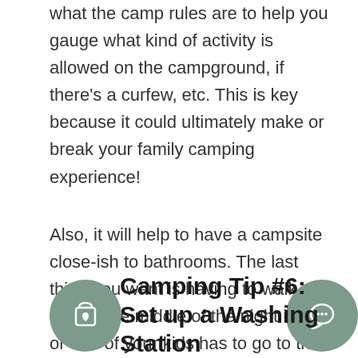what the camp rules are to help you gauge what kind of activity is allowed on the campground, if there's a curfew, etc. This is key because it could ultimately make or break your family camping experience!
Also, it will help to have a campsite close-ish to bathrooms. The last thing you want is having to walk a mile in the middle of the night if you or one of your kids has to go to the bathroom. Another idea to keep your kids busy is to set up camp near a playground or grass field, if there's some available on the campground, of course.
Camping Tip #6: Set up a Washing Station